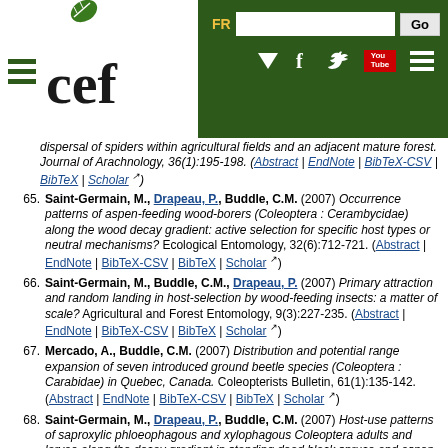CEF website header with logo, FR/Search bar, and navigation icons
dispersal of spiders within agricultural fields and an adjacent mature forest. Journal of Arachnology, 36(1):195-198. (Abstract | EndNote | BibTeX-CSV | BibTeX | Scholar)
65. Saint-Germain, M., Drapeau, P., Buddle, C.M. (2007) Occurrence patterns of aspen-feeding wood-borers (Coleoptera : Cerambycidae) along the wood decay gradient: active selection for specific host types or neutral mechanisms? Ecological Entomology, 32(6):712-721. (Abstract | EndNote | BibTeX-CSV | BibTeX | Scholar)
66. Saint-Germain, M., Buddle, C.M., Drapeau, P. (2007) Primary attraction and random landing in host-selection by wood-feeding insects: a matter of scale? Agricultural and Forest Entomology, 9(3):227-235. (Abstract | EndNote | BibTeX-CSV | BibTeX | Scholar)
67. Mercado, A., Buddle, C.M. (2007) Distribution and potential range expansion of seven introduced ground beetle species (Coleoptera : Carabidae) in Quebec, Canada. Coleopterists Bulletin, 61(1):135-142. (Abstract | EndNote | BibTeX-CSV | BibTeX | Scholar)
68. Saint-Germain, M., Drapeau, P., Buddle, C.M. (2007) Host-use patterns of saproxylic phloeophagous and xylophagous Coleoptera adults and larvae along the decay gradient in standing dead black spruce and aspen. Ecography, 30(6):737-748. (Abstract | EndNote | BibTeX-CSV | BibTeX | Scholar)